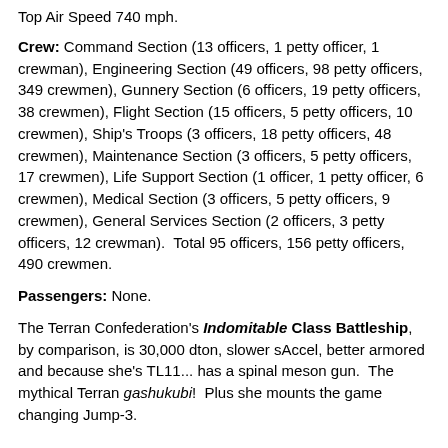Top Air Speed 740 mph.
Crew: Command Section (13 officers, 1 petty officer, 1 crewman), Engineering Section (49 officers, 98 petty officers, 349 crewmen), Gunnery Section (6 officers, 19 petty officers, 38 crewmen), Flight Section (15 officers, 5 petty officers, 10 crewmen), Ship's Troops (3 officers, 18 petty officers, 48 crewmen), Maintenance Section (3 officers, 5 petty officers, 17 crewmen), Life Support Section (1 officer, 1 petty officer, 6 crewmen), Medical Section (3 officers, 5 petty officers, 9 crewmen), General Services Section (2 officers, 3 petty officers, 12 crewman).  Total 95 officers, 156 petty officers, 490 crewmen.
Passengers: None.
The Terran Confederation's Indomitable Class Battleship, by comparison, is 30,000 dton, slower sAccel, better armored and because she's TL11... has a spinal meson gun.  The mythical Terran gashukubi!  Plus she mounts the game changing Jump-3.